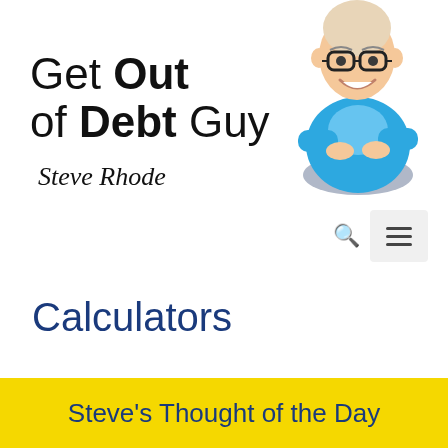[Figure (logo): Get Out of Debt Guy logo with cartoon illustration of a smiling bald man with glasses in a blue shirt, with script signature 'Steve Rhode']
Calculators
Steve's Thought of the Day